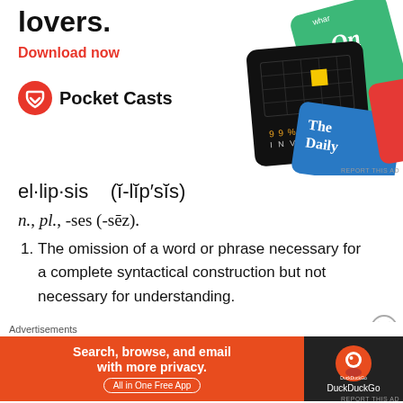[Figure (screenshot): Pocket Casts advertisement showing podcast app cards including 99% Invisible and The Daily, with Download now text and Pocket Casts logo]
el·lip·sis   (ĭ-lĭp′sĭs)
n., pl., -ses (-sēz).
The omission of a word or phrase necessary for a complete syntactical construction but not necessary for understanding.
[Figure (screenshot): DuckDuckGo advertisement: Search, browse, and email with more privacy. All in One Free App.]